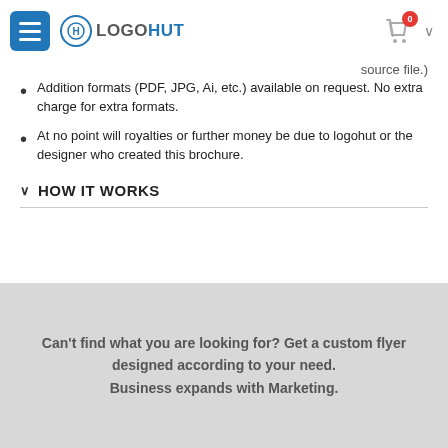LOGOHUT
source file.)
Addition formats (PDF, JPG, Ai, etc.) available on request. No extra charge for extra formats.
At no point will royalties or further money be due to logohut or the designer who created this brochure.
HOW IT WORKS
Can't find what you are looking for? Get a custom flyer designed according to your need. Business expands with Marketing.